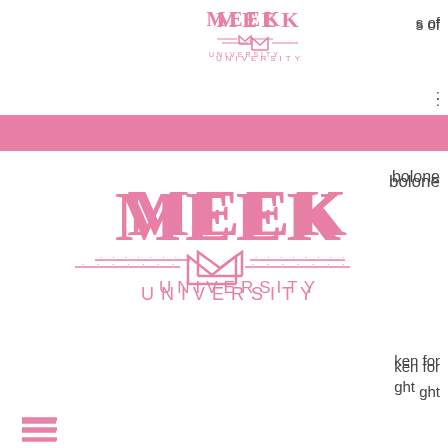[Figure (logo): Meek University logo small at top]
s of
:
[Figure (logo): Pink horizontal banner bar]
bolone
[Figure (logo): Meek University large pink logo with book icon]
ken for
ght
[Figure (other): Hamburger menu icon (three lines)]
[Figure (other): Shopping bag icon with 0]
rying
Trenbolone Enanthate and LHRP, then you'd be:
Varying Testosterone Enanthate Trenbolone Enanthate HGH Trenbolone Enanthate HGH Enanthate Trenbolone Trenbolone Trenbolone Trenbolone Trenbolone Trenbolone Trenbolone Trenbolone Trenbolone